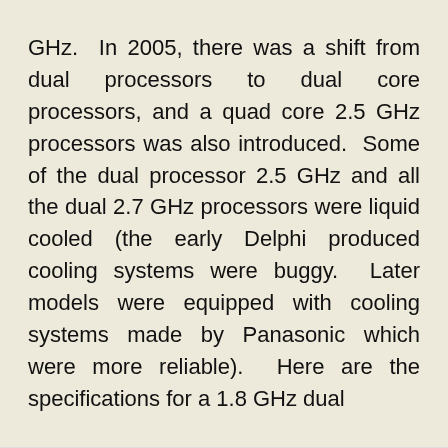GHz.  In 2005, there was a shift from dual processors to dual core processors, and a quad core 2.5 GHz processors was also introduced.  Some of the dual processor 2.5 GHz and all the dual 2.7 GHz processors were liquid cooled (the early Delphi produced cooling systems were buggy.  Later models were equipped with cooling systems made by Panasonic which were more reliable).  Here are the specifications for a 1.8 GHz dual
This website uses cookies to improve your experience. We'll assume you're ok with this, but you can opt-out if you wish. [cookie-accept] Read More